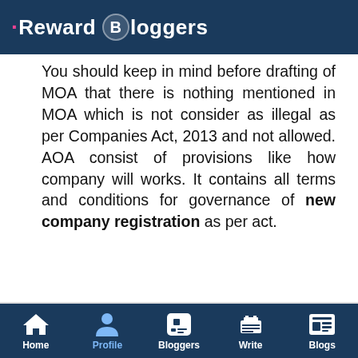Reward Bloggers
You should keep in mind before drafting of MOA that there is nothing mentioned in MOA which is not consider as illegal as per Companies Act, 2013 and not allowed. AOA consist of provisions like how company will works. It contains all terms and conditions for governance of new company registration as per act.
Home  Profile  Bloggers  Write  Blogs